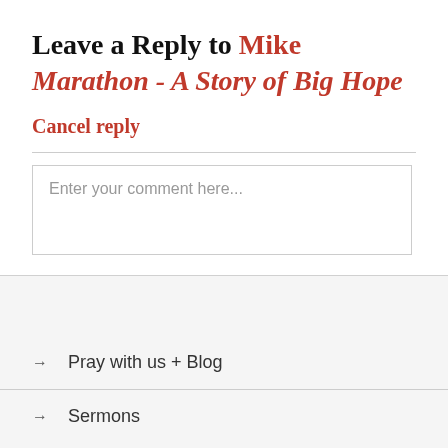Leave a Reply to Mike Marathon - A Story of Big Hope
Cancel reply
Enter your comment here...
→ Pray with us + Blog
→ Sermons